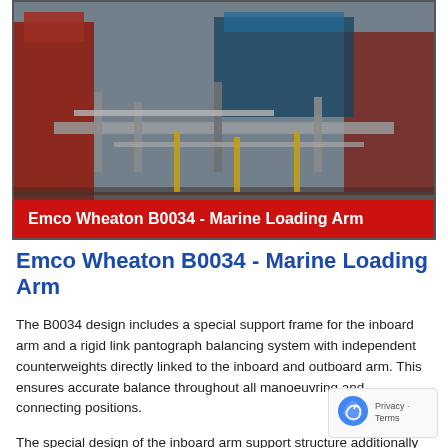[Figure (photo): Photograph of a marine loading arm installation at a jetty, showing industrial equipment with red and blue structures, pipes, and support frames.]
Emco Wheaton B0034 - Marine Loading Arm
Emco Wheaton B0034 - Marine Loading Arm
The B0034 design includes a special support frame for the inboard arm and a rigid link pantograph balancing system with independent counterweights directly linked to the inboard and outboard arm. This ensures accurate balance throughout all manoeuvring and connecting positions.
The special design of the inboard arm support structure additionally provides optimum operational safety asp... low weight of the arm and lowest wind loads impose... jetty structure.